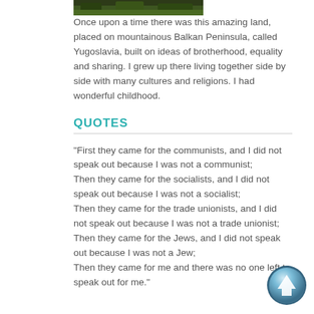[Figure (photo): Partial view of a mountainous or forested landscape photo at the top of the page]
Once upon a time there was this amazing land, placed on mountainous Balkan Peninsula, called Yugoslavia, built on ideas of brotherhood, equality and sharing. I grew up there living together side by side with many cultures and religions. I had wonderful childhood.
QUOTES
“First they came for the communists, and I did not speak out because I was not a communist;
Then they came for the socialists, and I did not speak out because I was not a socialist;
Then they came for the trade unionists, and I did not speak out because I was not a trade unionist;
Then they came for the Jews, and I did not speak out because I was not a Jew;
Then they came for me and there was no one left to speak out for me.”